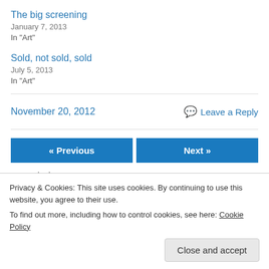The big screening
January 7, 2013
In "Art"
Sold, not sold, sold
July 5, 2013
In "Art"
November 20, 2012
Leave a Reply
« Previous
Next »
Privacy & Cookies: This site uses cookies. By continuing to use this website, you agree to their use.
To find out more, including how to control cookies, see here: Cookie Policy
Close and accept
are marked